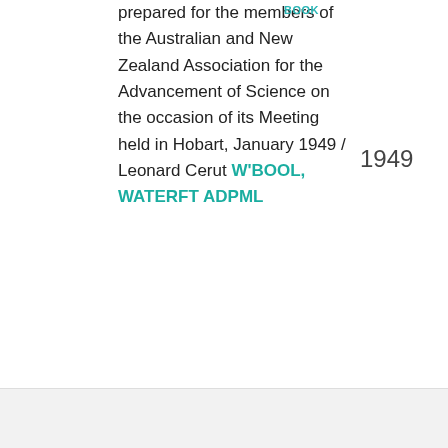prepared for the members of the Australian and New Zealand Association for the Advancement of Science on the occasion of its Meeting held in Hobart, January 1949 / Leonard Cerut W'BOOL, WATERFT ADPML
BOOK
1949
994.6 Cer/Hft 1949
: Handbook for Tasmania :